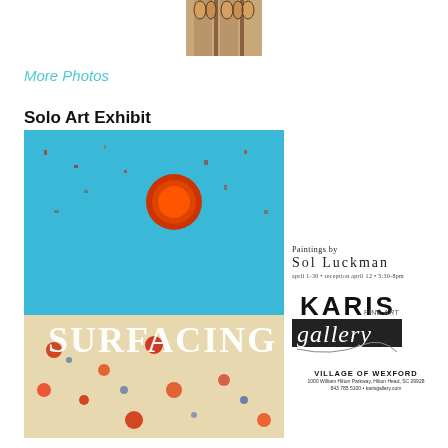[Figure (photo): Cropped artwork image showing abstract or sculptural human figures, partially visible at top of page]
More Photos
Solo Art Exhibit
[Figure (photo): Exhibition poster for 'SURFACING' – an abstract painting with turquoise blue background, red sun, and colorful splatter/texture with white bold text reading SURFACING]
Paintings by Sol Luckman
april 1-30 • reception april 12 • 5:30-8pm
[Figure (logo): Karis Gallery logo with stylized script 'gallery' text beneath bold 'KARIS' lettering]
VILLAGE OF WEXFORD
1000 William Hilton Parkway, Hilton Head, SC 29928
843 785 5100 • karisgallery.com